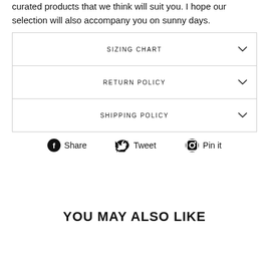curated products that we think will suit you. I hope our selection will also accompany you on sunny days.
SIZING CHART
RETURN POLICY
SHIPPING POLICY
Share  Tweet  Pin it
YOU MAY ALSO LIKE